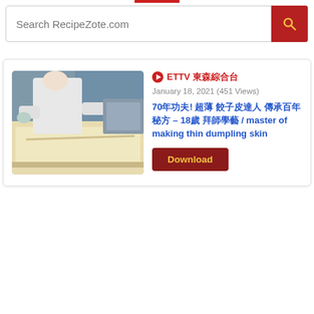Search RecipeZote.com
[Figure (photo): Person in white uniform rolling thin dumpling skin dough on a large table in a food production setting]
▶ ETTV 東森綜合台
January 18, 2021 (451 Views)
70年功夫! 超薄 餃子皮達人 傳承百年 秘方 – 18歲 拜師學藝 / master of making thin dumpling skin
Download